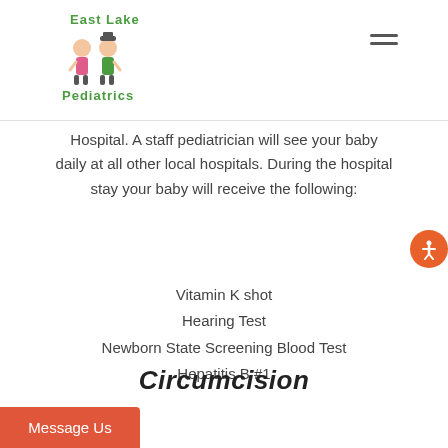East Lake Pediatrics
Hospital. A staff pediatrician will see your baby daily at all other local hospitals. During the hospital stay your baby will receive the following:
Vitamin K shot
Hearing Test
Newborn State Screening Blood Test
Hepatitis B #1
Circumcision